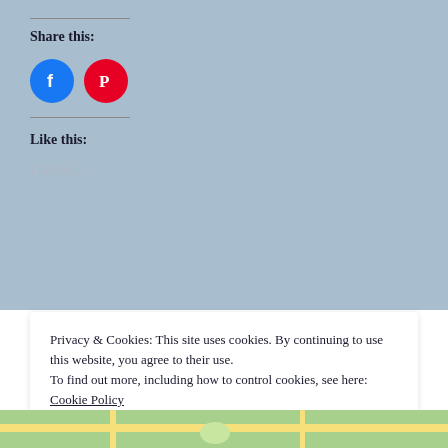Share this:
[Figure (illustration): Two circular social media share buttons: Facebook (blue circle with white 'f' icon) and Pinterest (red circle with white 'P' icon)]
Like this:
Loading...
Privacy & Cookies: This site uses cookies. By continuing to use this website, you agree to their use.
To find out more, including how to control cookies, see here: Cookie Policy
Close and accept
[Figure (map): Partial map view showing green areas and yellow roads at bottom of page]